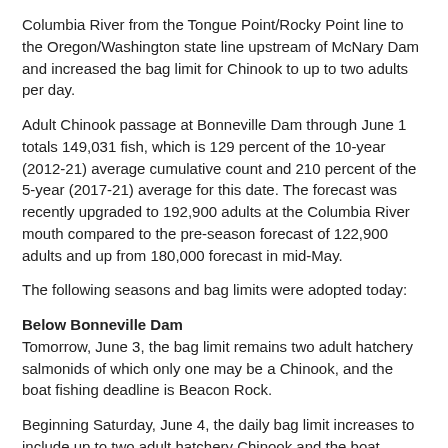Columbia River from the Tongue Point/Rocky Point line to the Oregon/Washington state line upstream of McNary Dam and increased the bag limit for Chinook to up to two adults per day.
Adult Chinook passage at Bonneville Dam through June 1 totals 149,031 fish, which is 129 percent of the 10-year (2012-21) average cumulative count and 210 percent of the 5-year (2017-21) average for this date. The forecast was recently upgraded to 192,900 adults at the Columbia River mouth compared to the pre-season forecast of 122,900 adults and up from 180,000 forecast in mid-May.
The following seasons and bag limits were adopted today:
Below Bonneville Dam
Tomorrow, June 3, the bag limit remains two adult hatchery salmonids of which only one may be a Chinook, and the boat fishing deadline is Beacon Rock.
Beginning Saturday, June 4, the daily bag limit increases to include up to two adult hatchery Chinook and the boat angling deadline moves to the aaa aaa aaa aaa aaa aaa aaa.